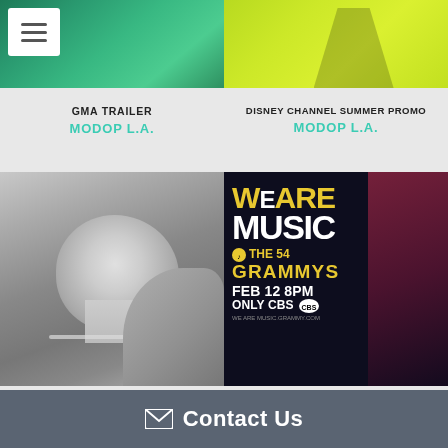[Figure (photo): Top-left thumbnail: colorful teal/green mosaic image with a white hamburger menu button in the top-left corner]
[Figure (photo): Top-right thumbnail: yellow-green background with a person in zebra-striped shorts]
GMA TRAILER
MODOP L.A.
DISNEY CHANNEL SUMMER PROMO
MODOP L.A.
[Figure (photo): Black and white portrait of a woman touching her face/ear, wearing a necklace]
[Figure (photo): Grammy billboard: dark background with gold text reading WE ARE MUSIC THE 54 GRAMMYS FEB 12 8PM ONLY CBS]
WALDORF ASTORIA PROMO
CREATIVE ASYLUM
GRAMMYS SIZZLE
CREATIVE ASYLUM
Contact Us